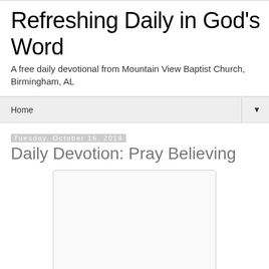Refreshing Daily in God's Word
A free daily devotional from Mountain View Baptist Church, Birmingham, AL
Home ▼
Tuesday, October 16, 2018
Daily Devotion: Pray Believing
[Figure (other): Embedded image placeholder, white/light gray rounded rectangle]